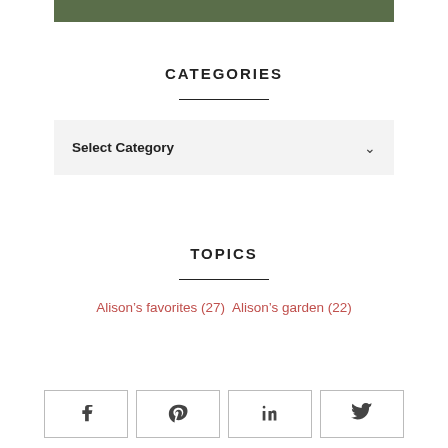[Figure (other): Dark olive/green horizontal bar at the top center of the page]
CATEGORIES
Select Category
TOPICS
Alison’s favorites (27) Alison’s garden (22)
[Figure (other): Social share buttons: Facebook, Pinterest, LinkedIn, Twitter]